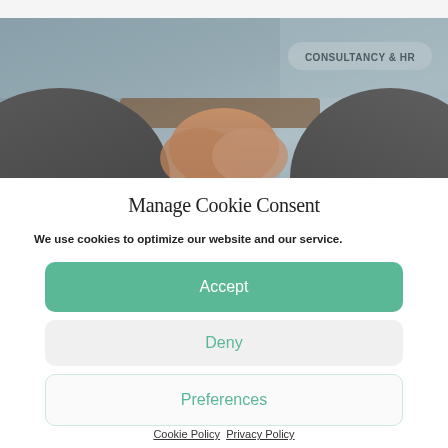[Figure (photo): Blurred photo of two people shaking hands across a desk, with a badge overlay reading CONSULTANCY & HR]
Manage Cookie Consent
We use cookies to optimize our website and our service.
Accept
Deny
Preferences
Cookie Policy   Privacy Policy